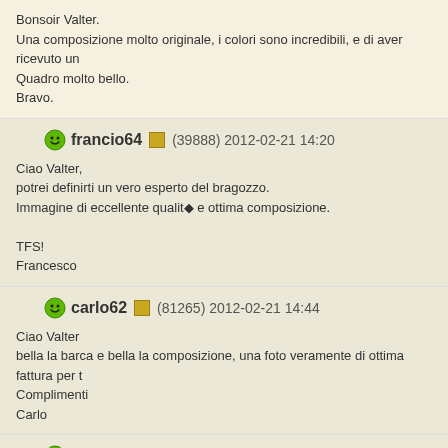Bonsoir Valter.
Una composizione molto originale, i colori sono incredibili, e di aver ricevuto un
Quadro molto bello.
Bravo.
francio64 (39888) 2012-02-21 14:20
Ciao Valter,
potrei definirti un vero esperto del bragozzo.
Immagine di eccellente qualit◆ e ottima composizione.

TFS!
Francesco
carlo62 (81265) 2012-02-21 14:44
Ciao Valter
bella la barca e bella la composizione, una foto veramente di ottima fattura per t
Complimenti
Carlo
tyro (30513) 2012-02-21 15:16
Ciao Valter